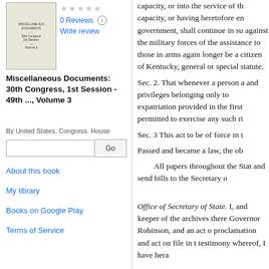[Figure (illustration): Thumbnail of book cover for Miscellaneous Documents]
0 Reviews
Write review
Miscellaneous Documents: 30th Congress, 1st Session - 49th ..., Volume 3
By United States. Congress. House
Go [search box]
About this book
My library
Books on Google Play
Terms of Service
capacity, or into the service of th capacity, or having heretofore en government, shall continue in su against the military forces of the assistance to those in arms again longer be a citizen of Kentucky, general or special statute.
Sec. 2. That whenever a person a and privileges belonging only to expatriation provided in the first permitted to exercise any such ri
Sec. 3 This act to be of force in t
Passed and became a law, the ob
All papers throughout the Stat and send bills to the Secretary o
Office of Secretary of State. I, and keeper of the archives there Governor Robinson, and an act o proclamation and act on file in t testimony whereof, I have hera